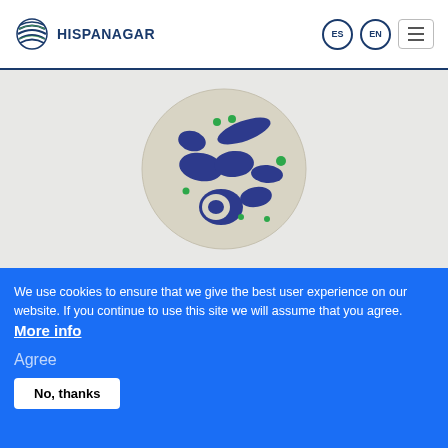[Figure (logo): Hispanagar logo: globe/sphere icon with horizontal lines in blue and green, with bold text HISPANAGAR in dark navy blue below]
[Figure (illustration): Circular illustration on light grey background showing a stylized cell or microorganism with dark blue amoeba-like shapes and small green dots inside a beige/cream circle]
We use cookies to ensure that we give the best user experience on our website. If you continue to use this site we will assume that you agree. More info
Agree
No, thanks